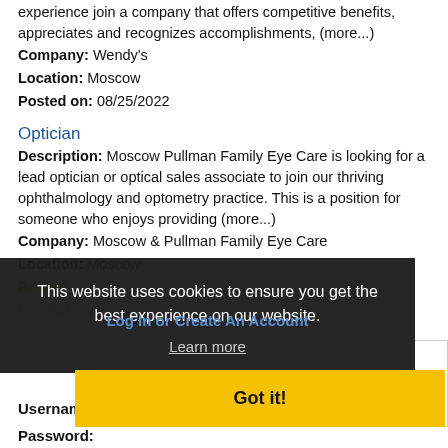experience join a company that offers competitive benefits, appreciates and recognizes accomplishments, (more...)
Company: Wendy's
Location: Moscow
Posted on: 08/25/2022
Optician
Description: Moscow Pullman Family Eye Care is looking for a lead optician or optical sales associate to join our thriving ophthalmology and optometry practice. This is a position for someone who enjoys providing (more...)
Company: Moscow & Pullman Family Eye Care
Location: Moscow
Posted on: 08/25/2022
Loading more jobs...
This website uses cookies to ensure you get the best experience on our website.
Learn more
Log In or Create An Account
Username:
Got it!
Password: